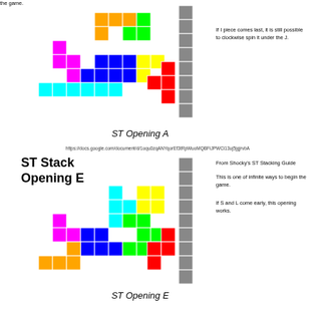[Figure (illustration): Tetris ST Stack Opening A board state with colored tetromino pieces (magenta, orange, green, blue, yellow, cyan) and a grey column on the right with a red J-piece placed]
ST Opening A
If I piece comes last, it is still possible to clockwise spin it under the J.
https://docs.google.com/document/d/1oqu0zqANYqorEf3tRpWuoMQBFiJPWCi13uj5jgjrvbA
ST Stack Opening E
[Figure (illustration): Tetris ST Stack Opening E board state with colored tetromino pieces (magenta, orange, cyan, yellow, blue, green) and a grey column on the right with a red S-piece placed]
ST Opening E
From Shocky's ST Stacking Guide
This is one of infinite ways to begin the game.
If S and L come early, this opening works.